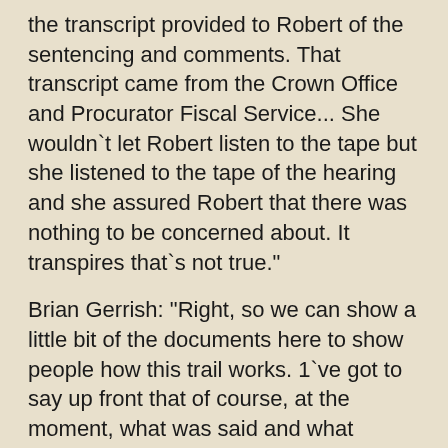the transcript provided to Robert of the sentencing and comments. That transcript came from the Crown Office and Procurator Fiscal Service... She wouldn`t let Robert listen to the tape but she listened to the tape of the hearing and she assured Robert that there was nothing to be concerned about. It transpires that`s not true."
Brian Gerrish: "Right, so we can show a little bit of the documents here to show people how this trail works. 1`ve got to say up front that of course, at the moment, what was said and what wasn`t said in court is not in front of us as evidence, so what the sheriff did and didn`t say we are trying to track down... The important thing about this is how the system itself seems to be manoeuvring and obfuscating around the information."
"So the first document... is from the Crown Office in